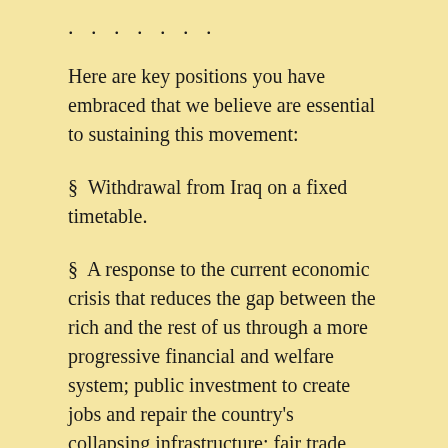. . . . . . .
Here are key positions you have embraced that we believe are essential to sustaining this movement:
§  Withdrawal from Iraq on a fixed timetable.
§  A response to the current economic crisis that reduces the gap between the rich and the rest of us through a more progressive financial and welfare system; public investment to create jobs and repair the country's collapsing infrastructure; fair trade policies; restoration of the freedom to organize unions; and meaningful government enforcement of labor laws and regulation